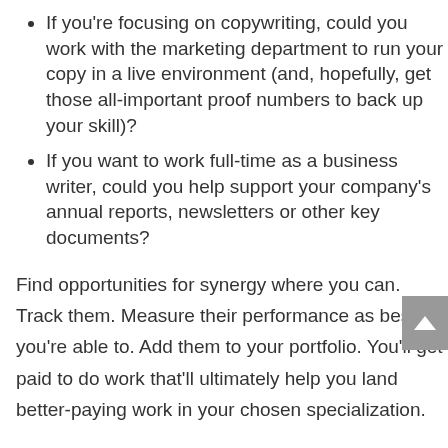If you're focusing on copywriting, could you work with the marketing department to run your copy in a live environment (and, hopefully, get those all-important proof numbers to back up your skill)?
If you want to work full-time as a business writer, could you help support your company's annual reports, newsletters or other key documents?
Find opportunities for synergy where you can. Track them. Measure their performance as best you're able to. Add them to your portfolio. You'll get paid to do work that'll ultimately help you land better-paying work in your chosen specialization.